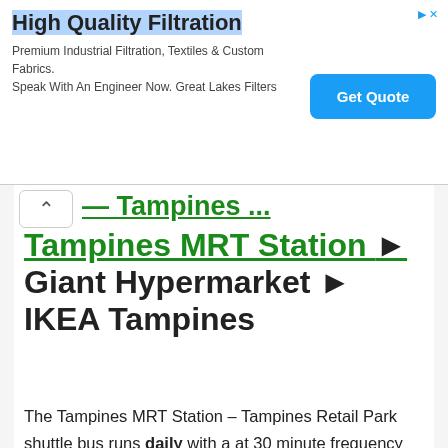[Figure (other): Advertisement banner for High Quality Filtration with Get Quote button]
Tampines MRT Station ► Giant Hypermarket ► IKEA Tampines
The Tampines MRT Station – Tampines Retail Park shuttle bus runs daily with a at 30 minute frequency from Tampines MRT Station. It starts daily at 8.45am from Tampines MRT Station, and ends at 9.45pm from Tampines Retail Park (Giant Hypermarket) on Monday to Thursday (excluding public holiday), and 11.15pm from Tampines